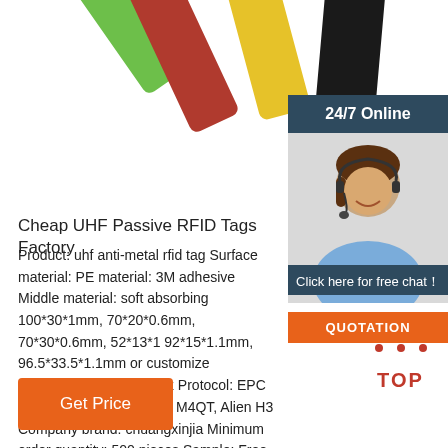[Figure (photo): Colorful UHF passive RFID tags in green, red, orange/yellow, and black colors arranged diagonally on white background]
[Figure (photo): 24/7 Online customer service representative - woman with headset smiling, with dark teal header '24/7 Online', 'Click here for free chat!' text, and orange QUOTATION button]
Cheap UHF Passive RFID Tags Factory
Product: uhf anti-metal rfid tag Surface material: PE material: 3M adhesive Middle material: soft absorbing 100*30*1mm, 70*20*0.6mm, 70*30*0.6mm, 52*13*1 92*15*1.1mm, 96.5*33.5*1.1mm or customize Frequency: 860^960MHz Protocol: EPC Class1Gen2　ISO18000 M4QT, Alien H3 Company brand: chuangxinjia Minimum order quantity: 500 pieces Sample: Free ...
[Figure (logo): TOP icon with orange dots arranged in triangle pattern above bold red TOP text]
Get Price